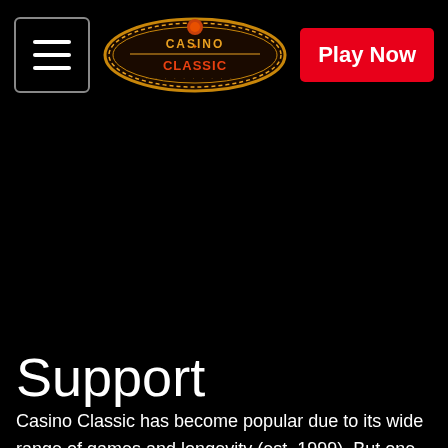[Figure (logo): Casino Classic logo — oval shaped badge with decorative border, 'CASINO CLASSIC' text in gold/red neon-style lettering on dark background]
Support
Casino Classic has become popular due to its wide range of games and longevity (est. 1999). But one of the most-overlooked factors to Casino Classic is their quality customer support. Let's take a look at what their customer service has